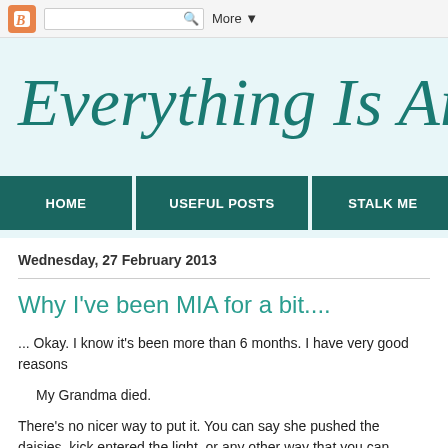Blogger navigation bar with search box and More button
Everything Is Art
HOME | USEFUL POSTS | STALK ME | ZENTANGLE
Wednesday, 27 February 2013
Why I've been MIA for a bit....
... Okay. I know it's been more than 6 months. I have very good reasons
My Grandma died.
There's no nicer way to put it. You can say she pushed the daisies, kick entered the light, or any other way that you can imagine, but the simple t
I know this is an Art blog, and I strive to keep it that, not a diary, but a